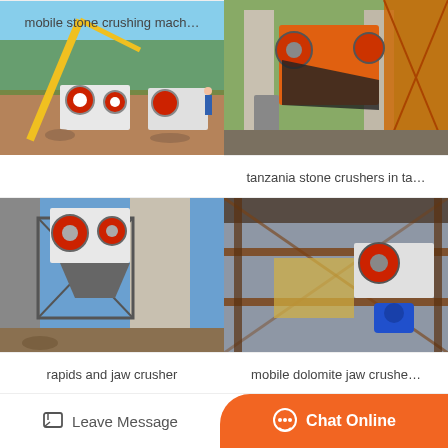[Figure (photo): Mobile stone crushing machine on a construction site with a yellow crane and red/white jaw crushers, outdoor dusty terrain]
mobile stone crushing mach…
[Figure (photo): Tanzania stone crushers installed between concrete pillars and steel scaffolding, large orange jaw crusher]
tanzania stone crushers in ta…
[Figure (photo): Rapids and jaw crusher machine mounted on steel frame next to large concrete structure, blue sky background]
rapids and jaw crusher
[Figure (photo): Mobile dolomite jaw crusher on steel structure scaffolding with blue motor, industrial quarry setting]
mobile dolomite jaw crushe…
Leave Message
Chat Online